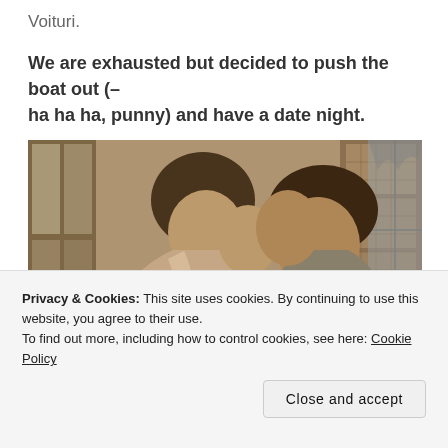Voituri.
We are exhausted but decided to push the boat out (– ha ha ha, punny) and have a date night.
[Figure (photo): Vintage sepia-toned photograph of a young couple leaning together closely over a table, appearing to share a drink or look at something together, in an old-fashioned interior setting with windows visible in the background.]
Privacy & Cookies: This site uses cookies. By continuing to use this website, you agree to their use.
To find out more, including how to control cookies, see here: Cookie Policy
Close and accept